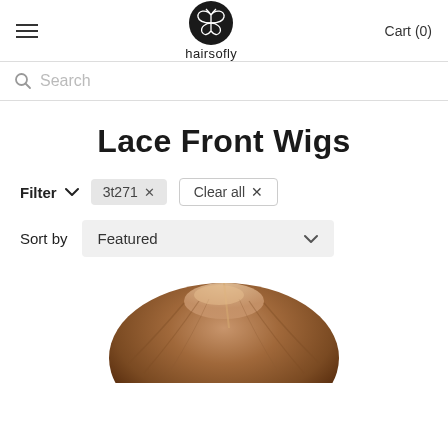hairsofly — Cart (0)
Search
Lace Front Wigs
Filter  3t271 ×  Clear all ×
Sort by  Featured
[Figure (photo): Product image showing the top portion of a hair wig with brown/brunette hair]